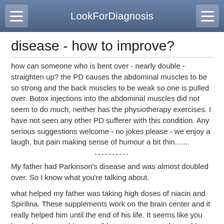LookForDiagnosis
disease - how to improve?
how can someone who is bent over - nearly double - straighten up? the PD causes the abdominal muscles to be so strong and the back muscles to be weak so one is pulled over. Botox injections into the abdominal muscles did not seem to do much, neither has the physiotherapy exercises. I have not seen any other PD sufferer with this condition. Any serious suggestions welcome - no jokes please - we enjoy a laugh, but pain making sense of humour a bit thin.......
----------
My father had Parkinson's disease and was almost doubled over. So I know what you're talking about.
what helped my father was taking high doses of niacin and Spirilina. These supplements work on the brain center and it really helped him until the end of his life. It seems like you have done everything possible to try to correct this problem.